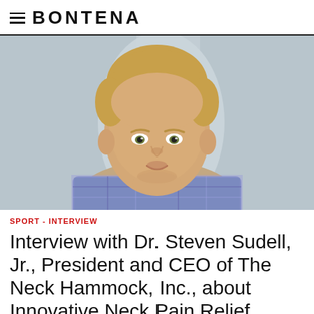≡ BONTENA
[Figure (photo): Headshot of Dr. Steven Sudell Jr., a man with short blond hair wearing a blue and purple plaid shirt, photographed against a light grey background.]
SPORT - INTERVIEW
Interview with Dr. Steven Sudell, Jr., President and CEO of The Neck Hammock, Inc., about Innovative Neck Pain Relief